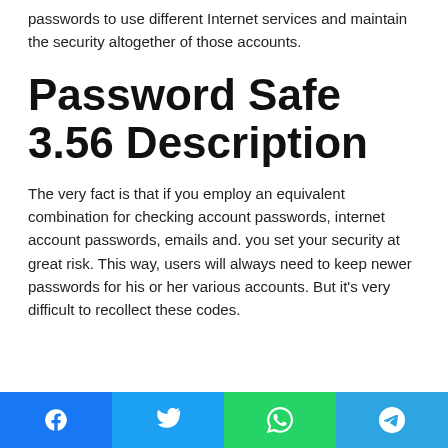passwords to use different Internet services and maintain the security altogether of those accounts.
Password Safe 3.56 Description
The very fact is that if you employ an equivalent combination for checking account passwords, internet account passwords, emails and. you set your security at great risk. This way, users will always need to keep newer passwords for his or her various accounts. But it's very difficult to recollect these codes.
Social share buttons: Facebook, Twitter, WhatsApp, Telegram